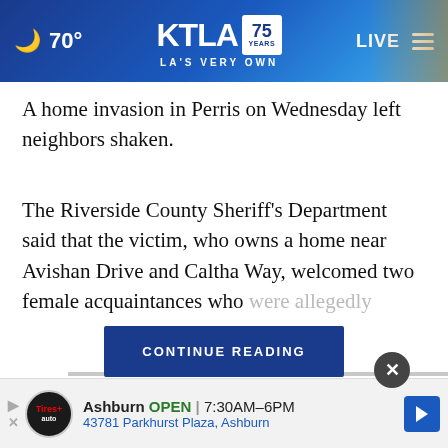70° KTLA 75 YEARS LA'S VERY OWN LIVE
A home invasion in Perris on Wednesday left neighbors shaken.
The Riverside County Sheriff's Department said that the victim, who owns a home near Avishan Drive and Caltha Way, welcomed two female acquaintances who were allegedly
CONTINUE READING
[Figure (photo): Partial photo visible behind ad overlay at bottom of page]
Ashburn OPEN 7:30AM–6PM 43781 Parkhurst Plaza, Ashburn